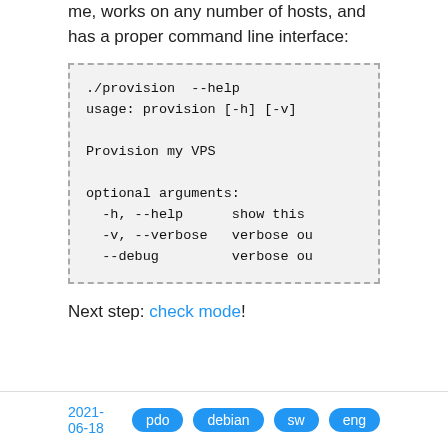me, works on any number of hosts, and has a proper command line interface:
./provision  --help
usage: provision [-h] [-v]

Provision my VPS

optional arguments:
  -h, --help      show this
  -v, --verbose   verbose ou
  --debug         verbose ou
Next step: check mode!
2021-06-18  pdo  debian  sw  eng